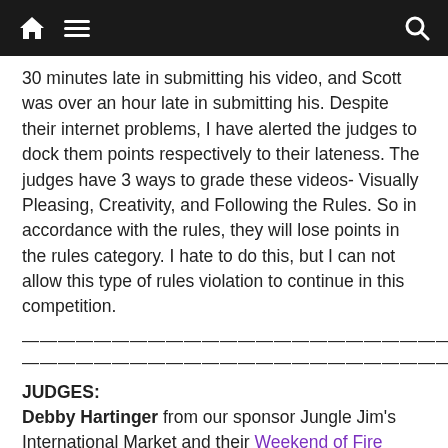Home | Menu | Search
30 minutes late in submitting his video, and Scott was over an hour late in submitting his. Despite their internet problems, I have alerted the judges to dock them points respectively to their lateness. The judges have 3 ways to grade these videos- Visually Pleasing, Creativity, and Following the Rules. So in accordance with the rules, they will lose points in the rules category. I hate to do this, but I can not allow this type of rules violation to continue in this competition.
—————————————————————————————————————————
JUDGES:
Debby Hartinger from our sponsor Jungle Jim's International Market and their Weekend of Fire Show in Oct 1-2, 2011
Tracy Carter from JACC Tailgaters representing our